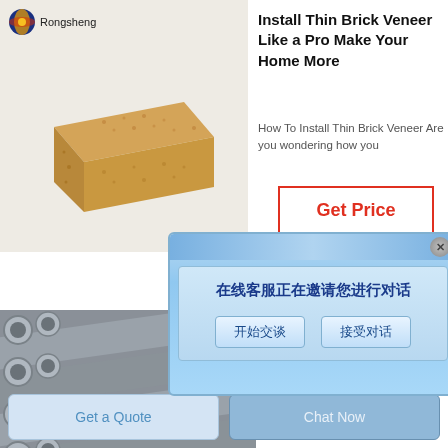[Figure (photo): Product photo of a tan/sandy colored firebrick or refractory brick, viewed at an angle showing the top and front face. Background is light grey/white. Rongsheng logo with globe icon in top-left corner.]
Install Thin Brick Veneer Like a Pro Make Your Home More
How To Install Thin Brick Veneer Are you wondering how you
[Figure (other): Red-bordered 'Get Price' button with red text on white background]
[Figure (screenshot): Chinese chat popup dialog with blue gradient background. Header bar with close button (x). Text: 在线客服正在邀请您进行对话. Two buttons: 开始交谈 and 接受对话]
[Figure (photo): Photo of grey cylindrical PVC or concrete pipe sections stacked together, viewed from the end showing circular cross-sections. Industrial/construction material.]
Get a Quote
Chat Now